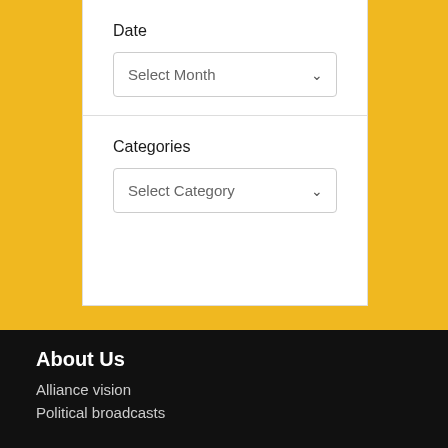Date
Select Month
Categories
Select Category
About Us
Alliance vision
Political broadcasts